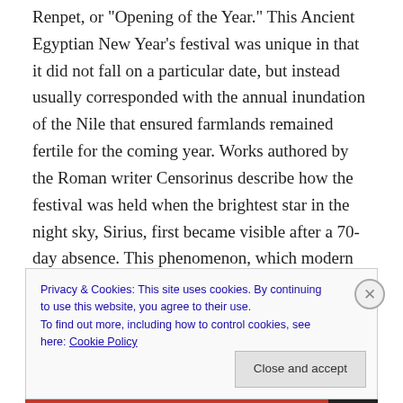Renpet, or 'Opening of the Year.' This Ancient Egyptian New Year's festival was unique in that it did not fall on a particular date, but instead usually corresponded with the annual inundation of the Nile that ensured farmlands remained fertile for the coming year.  Works authored by the Roman writer Censorinus describe how the festival was held when the brightest star in the night sky, Sirius, first became visible after a 70-day absence. This phenomenon, which modern day scientists would refer to as heliacal rising, stood as a symbol of rebirth and rejuvenation, and was celebrated with large feasts and
Privacy & Cookies: This site uses cookies. By continuing to use this website, you agree to their use.
To find out more, including how to control cookies, see here: Cookie Policy
Close and accept